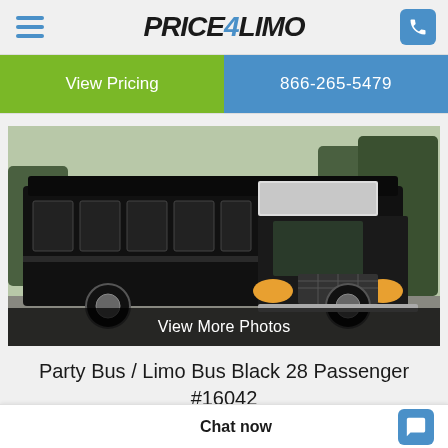Price4Limo
View Pricing | 866-265-5479
[Figure (photo): Black party bus / limo bus exterior photo, front three-quarter view, parked in a lot with trees in background. Large black bus with tinted windows.]
View More Photos
Party Bus / Limo Bus Black 28 Passenger #16042
Chat now